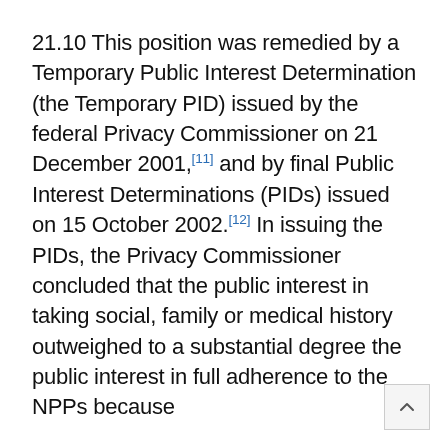21.10 This position was remedied by a Temporary Public Interest Determination (the Temporary PID) issued by the federal Privacy Commissioner on 21 December 2001,[11] and by final Public Interest Determinations (PIDs) issued on 15 October 2002.[12] In issuing the PIDs, the Privacy Commissioner concluded that the public interest in taking social, family or medical history outweighed to a substantial degree the public interest in full adherence to the NPPs because